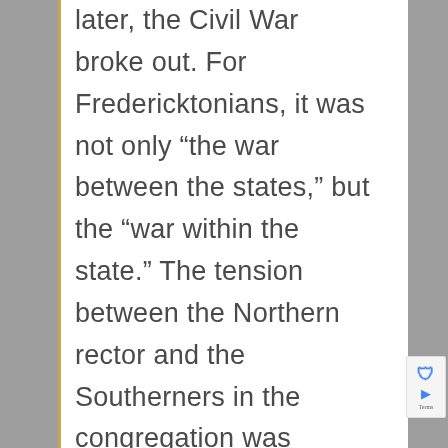later, the Civil War broke out. For Fredericktonians, it was not only “the war between the states,” but the “war within the state.” The tension between the Northern rector and the Southerners in the congregation was characteristic of the division at the time. By